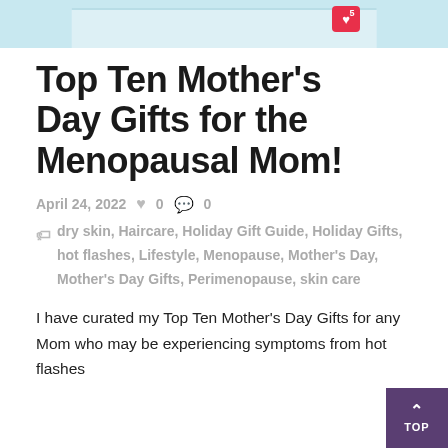[Figure (photo): Partial top image showing a light blue/teal background with a white object and a pink heart badge, cropped at the top of the page]
Top Ten Mother's Day Gifts for the Menopausal Mom!
April 24, 2022   ♥ 0   💬 0
🏷 dry skin, Haircare, Holiday Gift Guide, Holiday Gifts, hot flashes, Lifestyle, Menopause, Mother's Day, Mother's Day Gifts, Perimenopause, skin care
I have curated my Top Ten Mother's Day Gifts for any Mom who may be experiencing symptoms from hot flashes